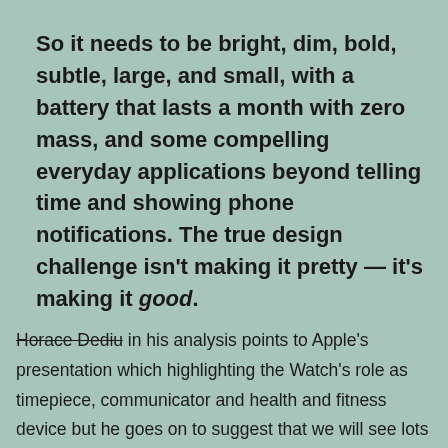So it needs to be bright, dim, bold, subtle, large, and small, with a battery that lasts a month with zero mass, and some compelling everyday applications beyond telling time and showing phone notifications. The true design challenge isn't making it pretty — it's making it good.
Horace Dediu in his analysis points to Apple's presentation which highlighting the Watch's role as timepiece, communicator and health and fitness device but he goes on to suggest that we will see lots more use